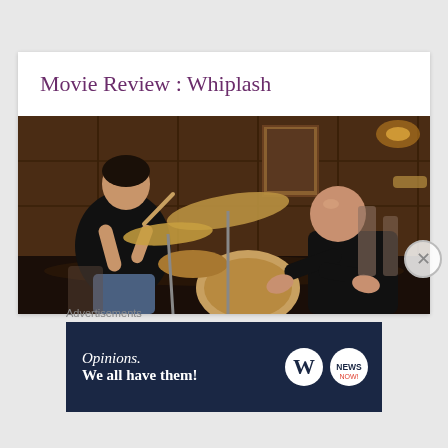Movie Review : Whiplash
[Figure (photo): Still from the movie Whiplash showing a young man playing drums intensely on the left, and a bald man leaning forward aggressively on the right, in a dark rehearsal room setting.]
Advertisements
[Figure (infographic): Advertisement banner with dark navy background. Left side shows italic text 'Opinions.' and bold text 'We all have them!' in white. Right side shows the WordPress 'W' logo in a white circle and a 'NEWS' logo in a white circle.]